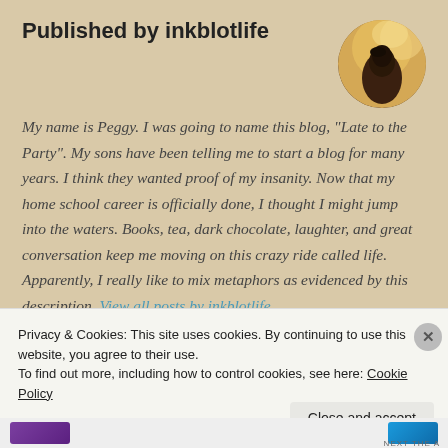Published by inkblotlife
My name is Peggy. I was going to name this blog, "Late to the Party". My sons have been telling me to start a blog for many years. I think they wanted proof of my insanity. Now that my home school career is officially done, I thought I might jump into the waters. Books, tea, dark chocolate, laughter, and great conversation keep me moving on this crazy ride called life. Apparently, I really like to mix metaphors as evidenced by this description. View all posts by inkblotlife
Privacy & Cookies: This site uses cookies. By continuing to use this website, you agree to their use.
To find out more, including how to control cookies, see here: Cookie Policy
Close and accept